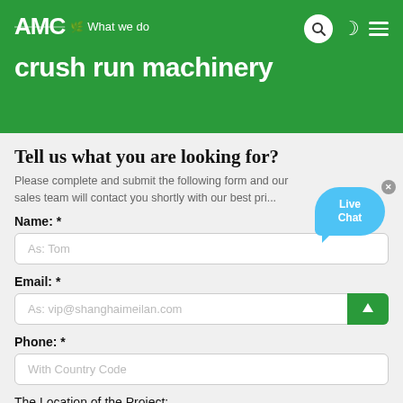AMC — What we do / crush run machinery
Tell us what you are looking for?
Please complete and submit the following form and our sales team will contact you shortly with our best pri...
Name: *
As: Tom
Email: *
As: vip@shanghaimeilan.com
Phone: *
With Country Code
The Location of the Project: